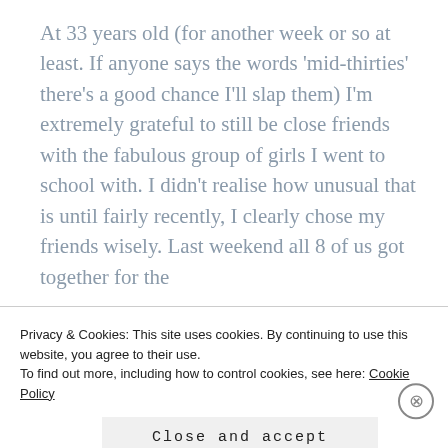At 33 years old (for another week or so at least. If anyone says the words ‘mid-thirties’ there’s a good chance I’ll slap them) I’m extremely grateful to still be close friends with the fabulous group of girls I went to school with. I didn’t realise how unusual that is until fairly recently, I clearly chose my friends wisely. Last weekend all 8 of us got together for the
Privacy & Cookies: This site uses cookies. By continuing to use this website, you agree to their use.
To find out more, including how to control cookies, see here: Cookie Policy
Close and accept